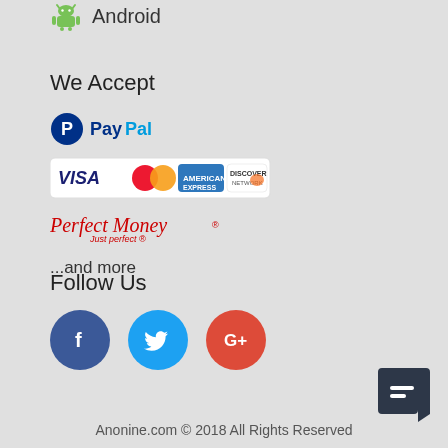Android
We Accept
[Figure (logo): PayPal logo]
[Figure (logo): Credit card logos: VISA, MasterCard, American Express, Discover]
[Figure (logo): Perfect Money logo]
...and more
Follow Us
[Figure (logo): Social media icons: Facebook, Twitter, Google+]
Anonine.com © 2018 All Rights Reserved